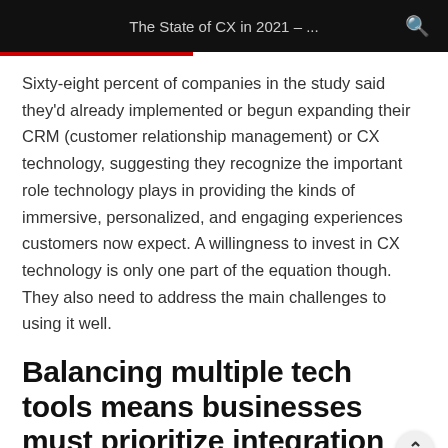The State of CX in 2021 – ...
Sixty-eight percent of companies in the study said they'd already implemented or begun expanding their CRM (customer relationship management) or CX technology, suggesting they recognize the important role technology plays in providing the kinds of immersive, personalized, and engaging experiences customers now expect. A willingness to invest in CX technology is only one part of the equation though. They also need to address the main challenges to using it well.
Balancing multiple tech tools means businesses must prioritize integration